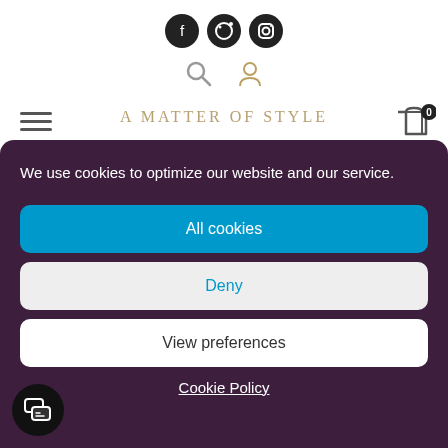[Figure (screenshot): Social media icons: Facebook, Pinterest, Instagram in black circles]
[Figure (screenshot): Navigation icons: search (magnifying glass) and user account (person silhouette)]
[Figure (screenshot): Hamburger menu icon (three horizontal lines) on the left]
A Matter of Style
[Figure (screenshot): Shopping cart icon with badge showing 0]
We use cookies to optimize our website and our service.
All cookies
Deny
View preferences
Cookie Policy
[Figure (screenshot): Chat/messaging button in bottom left corner (black circle with speech bubble icon)]